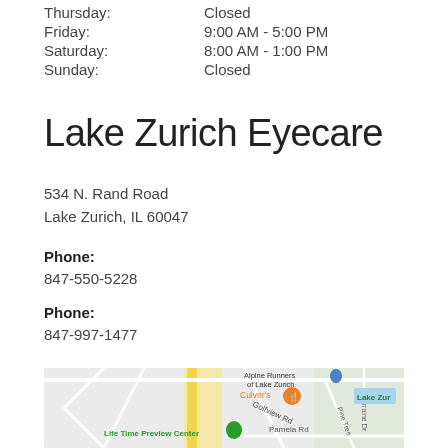Thursday: Closed
Friday: 9:00 AM - 5:00 PM
Saturday: 8:00 AM - 1:00 PM
Sunday: Closed
Lake Zurich Eyecare
534 N. Rand Road
Lake Zurich, IL 60047
Phone:
847-550-5228
Phone:
847-997-1477
[Figure (map): Google Maps view showing area around Lake Zurich Eyecare at 534 N. Rand Road, with markers for Life Time Preview Center (green pin), Alpine Runners of Lake Zurich (blue marker), Culver's restaurant (orange icon), and Lake Zurich visible on the right side. Roads include Golfview Rd, Pine Tree, Lorraine Dr, and Pamela Rd.]